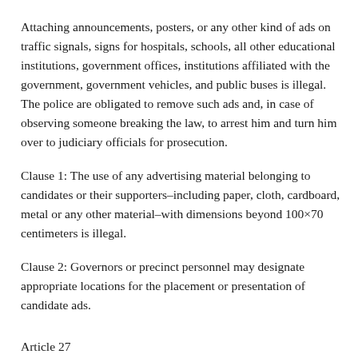Attaching announcements, posters, or any other kind of ads on traffic signals, signs for hospitals, schools, all other educational institutions, government offices, institutions affiliated with the government, government vehicles, and public buses is illegal. The police are obligated to remove such ads and, in case of observing someone breaking the law, to arrest him and turn him over to judiciary officials for prosecution.
Clause 1: The use of any advertising material belonging to candidates or their supporters–including paper, cloth, cardboard, metal or any other material–with dimensions beyond 100×70 centimeters is illegal.
Clause 2: Governors or precinct personnel may designate appropriate locations for the placement or presentation of candidate ads.
Article 27